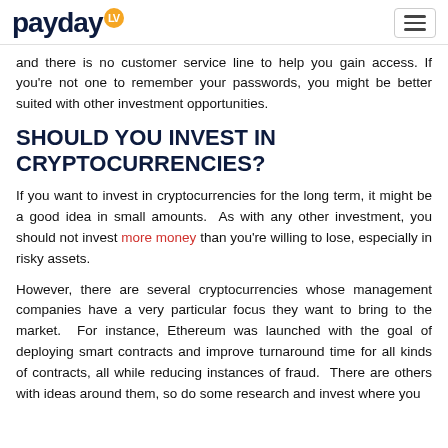payday LV
and there is no customer service line to help you gain access. If you're not one to remember your passwords, you might be better suited with other investment opportunities.
SHOULD YOU INVEST IN CRYPTOCURRENCIES?
If you want to invest in cryptocurrencies for the long term, it might be a good idea in small amounts. As with any other investment, you should not invest more money than you're willing to lose, especially in risky assets.
However, there are several cryptocurrencies whose management companies have a very particular focus they want to bring to the market. For instance, Ethereum was launched with the goal of deploying smart contracts and improve turnaround time for all kinds of contracts, all while reducing instances of fraud. There are others with ideas around them, so do some research and invest where you